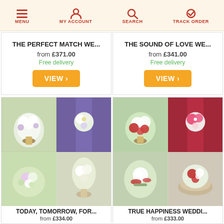MENU | MY ACCOUNT | SEARCH | TRACK ORDER
THE PERFECT MATCH WE...
from £371.00
Free delivery
THE SOUND OF LOVE WE...
from £341.00
Free delivery
[Figure (photo): Four flower arrangement photos in a 2x2 grid: bridal bouquet with white lilies and purple flowers, boutonniere with white flowers on purple tie, small flower arrangement, and tall arrangement with white lilies.]
TODAY, TOMORROW, FOR...
from £334.00
[Figure (photo): Four flower arrangement photos in a 2x2 grid: bridal bouquet with red roses and white lilies, boutonniere with pink flower on red tie, exotic flower arrangement, and small wicker basket arrangement with red and white flowers.]
TRUE HAPPINESS WEDDI...
from £333.00